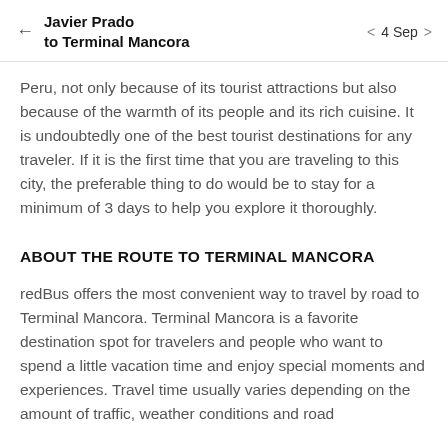Javier Prado to Terminal Mancora   4 Sep
Peru, not only because of its tourist attractions but also because of the warmth of its people and its rich cuisine. It is undoubtedly one of the best tourist destinations for any traveler. If it is the first time that you are traveling to this city, the preferable thing to do would be to stay for a minimum of 3 days to help you explore it thoroughly.
ABOUT THE ROUTE TO TERMINAL MANCORA
redBus offers the most convenient way to travel by road to Terminal Mancora. Terminal Mancora is a favorite destination spot for travelers and people who want to spend a little vacation time and enjoy special moments and experiences. Travel time usually varies depending on the amount of traffic, weather conditions and road